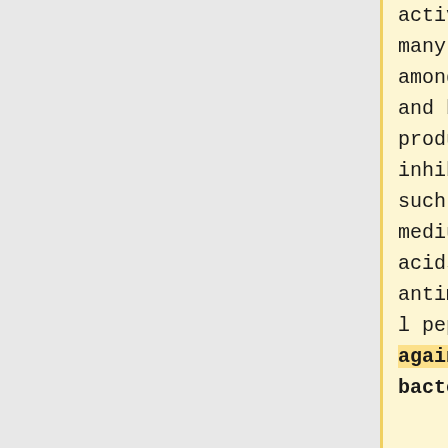activity, there are many interactions among various yeasts and bacteria. Yeasts produce many inhibitory compounds such as SO2, ethanol, medium chain fatty acids, and antimicrobial peptides, which act against bacterial